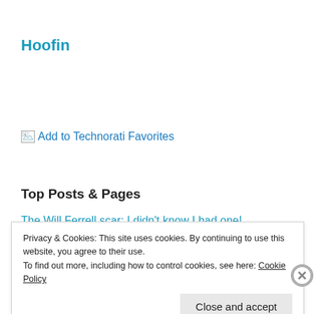Hoofin
[Figure (illustration): Broken image icon followed by link text 'Add to Technorati Favorites']
Top Posts & Pages
The Will Ferrell scar: I didn't know I had one!
Privacy & Cookies: This site uses cookies. By continuing to use this website, you agree to their use.
To find out more, including how to control cookies, see here: Cookie Policy
Close and accept